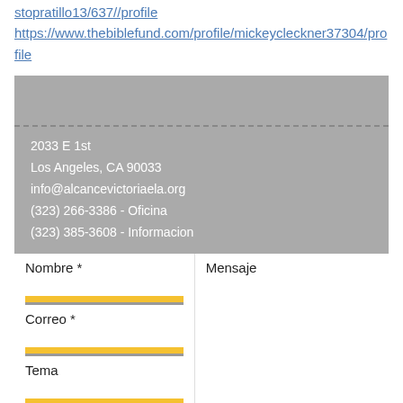stopratillo13/637//profile
https://www.thebiblefund.com/profile/mickeycleckner37304/profile
[Figure (screenshot): Gray contact info box with dashed top border, showing address: 2033 E 1st, Los Angeles, CA 90033, info@alcancevictoriaela.org, (323) 266-3386 - Oficina, (323) 385-3608 - Informacion]
[Figure (screenshot): Contact form with fields: Nombre *, Correo *, Tema on left side; Mensaje textarea on right side; yellow input bars below each field; Send button at bottom right on gray background]
2033 E 1st
Los Angeles, CA 90033
info@alcancevictoriaela.org
(323) 266-3386 - Oficina
(323) 385-3608 - Informacion